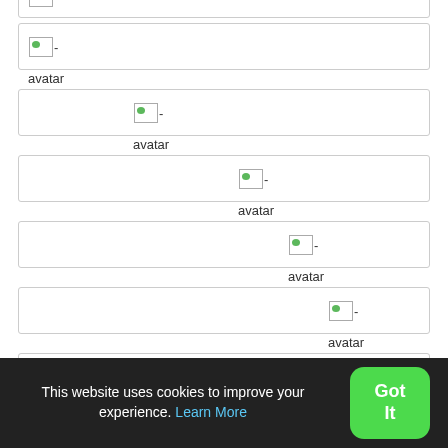[Figure (screenshot): Website screenshot showing a list of avatar image rows with broken image icons, each labeled 'avatar', positioned at increasing horizontal offsets. A cookie consent banner appears at the bottom with 'Got It' button.]
This website uses cookies to improve your experience. Learn More
Got It